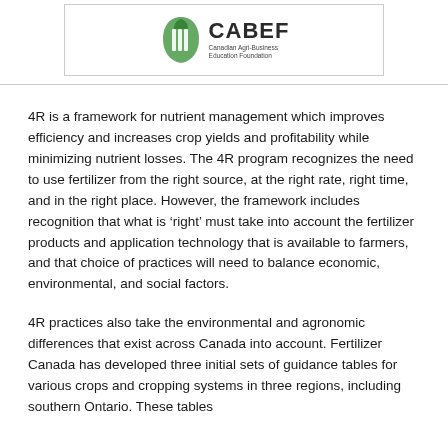[Figure (logo): CABEF - Canadian Agri-Business Education Foundation logo with stylized green leaf/book icon]
4R is a framework for nutrient management which improves efficiency and increases crop yields and profitability while minimizing nutrient losses. The 4R program recognizes the need to use fertilizer from the right source, at the right rate, right time, and in the right place. However, the framework includes recognition that what is ‘right’ must take into account the fertilizer products and application technology that is available to farmers, and that choice of practices will need to balance economic, environmental, and social factors.
4R practices also take the environmental and agronomic differences that exist across Canada into account. Fertilizer Canada has developed three initial sets of guidance tables for various crops and cropping systems in three regions, including southern Ontario. These tables